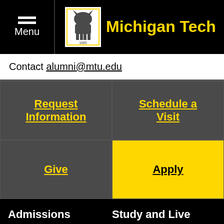Menu | Michigan Tech
Contact alumni@mtu.edu
Request Information
Schedule a Visit
Give
Apply
Admissions
Undergraduate Admissions
Graduate Admissions
Global Campus
Request Information
Study and Live
Degrees / Majors
Colleges and Departments
Library
Events Calendar